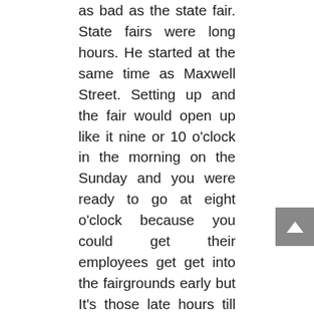as bad as the state fair. State fairs were long hours. He started at the same time as Maxwell Street. Setting up and the fair would open up like it nine or 10 o'clock in the morning on the Sunday and you were ready to go at eight o'clock because you could get their employees get get into the fairgrounds early but It's those late hours till 10 o'clock at night. Yeah.
Unknown Speaker 1:02:04
For a long day
Ron Popeil 1:02:06
and you don't want to talk to anybody. Some of the things I recall when you get hungry you got to take a break and eat. There was